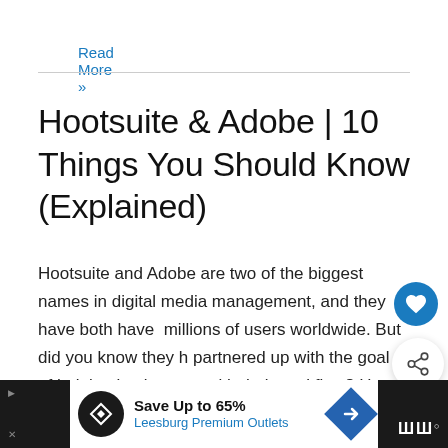Read More »
Hootsuite & Adobe | 10 Things You Should Know (Explained)
Hootsuite and Adobe are two of the biggest names in digital media management, and they have both have millions of users worldwide. But did you know they have partnered up with the goal of helping businesses with their workflow? Here Are Some Things to Know about Hootsuite and Adobe: Hootsuite is a social media
Save Up to 65%
Leesburg Premium Outlets